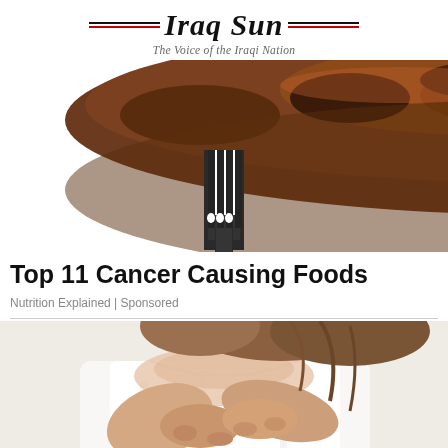Iraq Sun — The Voice of the Iraqi Nation
[Figure (photo): Close-up photo of a grilled/roasted meat on a fork against white background, bottom half of a round meat dish with dark fork visible]
Top 11 Cancer Causing Foods
Nutrition Explained | Sponsored
[Figure (photo): Photo of a woman in white tank top with hands on chest area, cropped showing torso and lower face/hair]